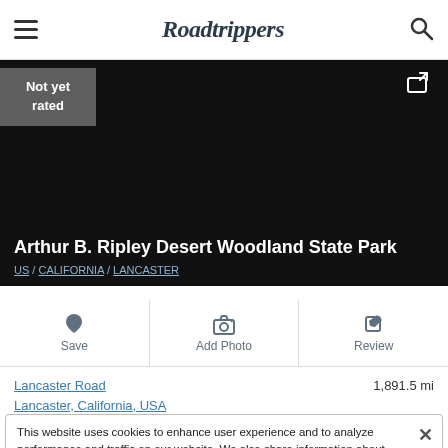Roadtrippers
[Figure (screenshot): Dark hero image area for Arthur B. Ripley Desert Woodland State Park with 'Not yet rated' badge and share icon]
Arthur B. Ripley Desert Woodland State Park
US / CALIFORNIA / LANCASTER
Save | Add Photo | Review
Lancaster Road Lancaster, California, USA  1,891.5 mi
This website uses cookies to enhance user experience and to analyze performance and traffic on our website. We also share information about your use of our site with our social media and analytics partners. Roadtrippers Privacy/Cookie Policy